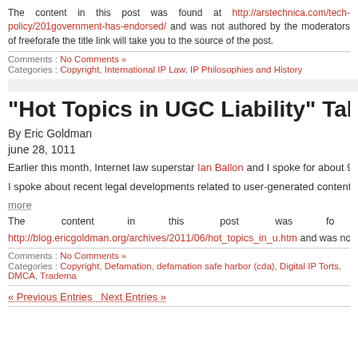The content in this post was found at http://arstechnica.com/tech-policy/201... government-has-endorsed/ and was not authored by the moderators of freeforafe... the title link will take you to the source of the post.
Comments : No Comments »
Categories : Copyright, International IP Law, IP Philosophies and History
“Hot Topics in UGC Liability” Talk Slide…
By Eric Goldman
june 28, 1011
Earlier this month, Internet law superstar Ian Ballon and I spoke for about 90 minu... hot topics in Internet law. Watch the video by downloading or streaming (item #47) i…
I spoke about recent legal developments related to user-generated content. My talk…
more
The content in this post was found at http://blog.ericgoldman.org/archives/2011/06/hot_topics_in_u.htm and was not a... moderators of freeforafee.com. Clicking the title link will take you to the source of th…
Comments : No Comments »
Categories : Copyright, Defamation, defamation safe harbor (cda), Digital IP Torts, DMCA, Tradema…
« Previous Entries  Next Entries »